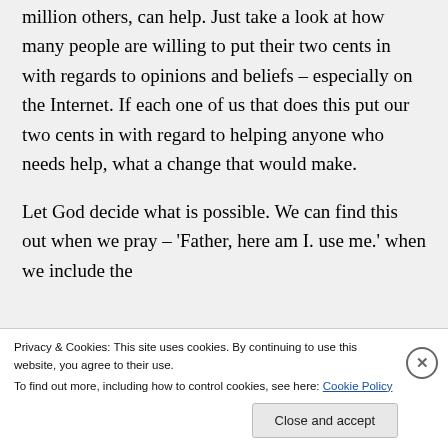million others, can help. Just take a look at how many people are willing to put their two cents in with regards to opinions and beliefs – especially on the Internet. If each one of us that does this put our two cents in with regard to helping anyone who needs help, what a change that would make.
Let God decide what is possible. We can find this out when we pray – 'Father, here am I. use me.' when we include the
Privacy & Cookies: This site uses cookies. By continuing to use this website, you agree to their use.
To find out more, including how to control cookies, see here: Cookie Policy